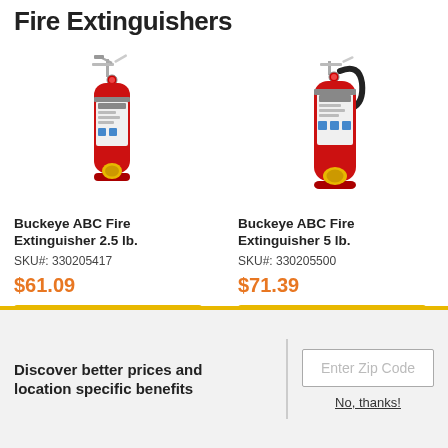Fire Extinguishers
[Figure (photo): Buckeye ABC Fire Extinguisher 2.5 lb. - red fire extinguisher with silver valve and hose handle]
Buckeye ABC Fire Extinguisher 2.5 lb.
SKU#: 330205417
$61.09
[Figure (photo): Buckeye ABC Fire Extinguisher 5 lb. - red fire extinguisher with black hose]
Buckeye ABC Fire Extinguisher 5 lb.
SKU#: 330205500
$71.39
Discover better prices and location specific benefits
Enter Zip Code
No, thanks!